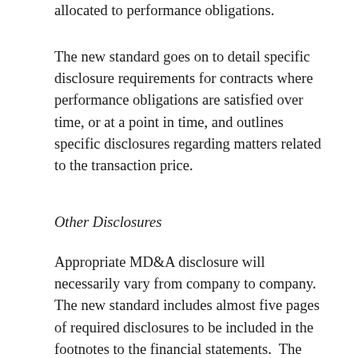allocated to performance obligations.
The new standard goes on to detail specific disclosure requirements for contracts where performance obligations are satisfied over time, or at a point in time, and outlines specific disclosures regarding matters related to the transaction price.
Other Disclosures
Appropriate MD&A disclosure will necessarily vary from company to company. The new standard includes almost five pages of required disclosures to be included in the footnotes to the financial statements.  The overall goal of the footnote disclosures is to provide sufficient information to enable users of financial